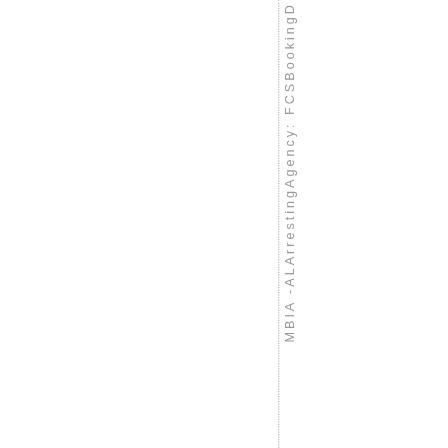MBIA -ALArrestingAgency: FCSBookingD